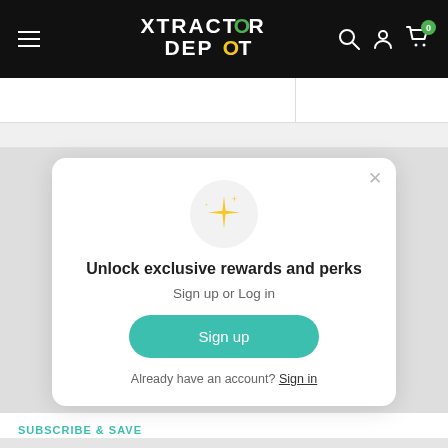XTRACTOR DEPOT
[Figure (screenshot): Xtractor Depot website screenshot showing a modal popup with sparkle icon, 'Unlock exclusive rewards and perks' heading, Sign up or Log in text, a teal Sign up button, and an 'Already have an account? Sign in' link.]
Unlock exclusive rewards and perks
Sign up or Log in
Sign up
Already have an account? Sign in
SUBSCRIBE & SAVE